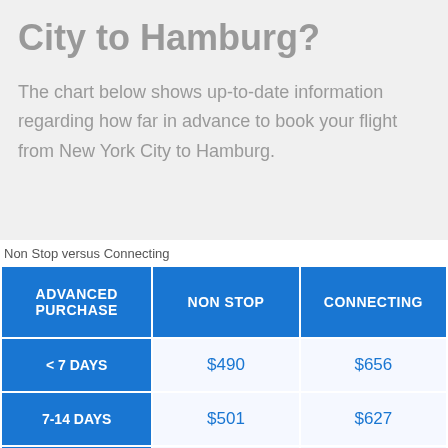City to Hamburg?
The chart below shows up-to-date information regarding how far in advance to book your flight from New York City to Hamburg.
Non Stop versus Connecting
| ADVANCED PURCHASE | NON STOP | CONNECTING |
| --- | --- | --- |
| < 7 DAYS | $490 | $656 |
| 7-14 DAYS | $501 | $627 |
| 14-21 DAYS | $499 | $690 |